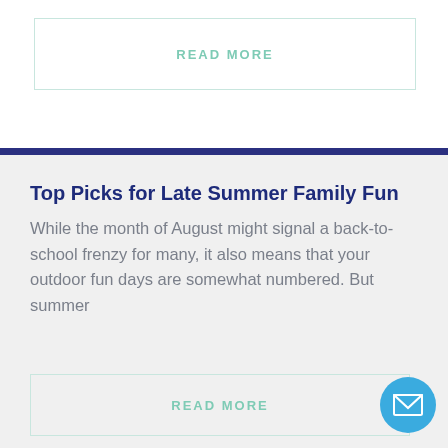READ MORE
Top Picks for Late Summer Family Fun
While the month of August might signal a back-to-school frenzy for many, it also means that your outdoor fun days are somewhat numbered. But summer
READ MORE